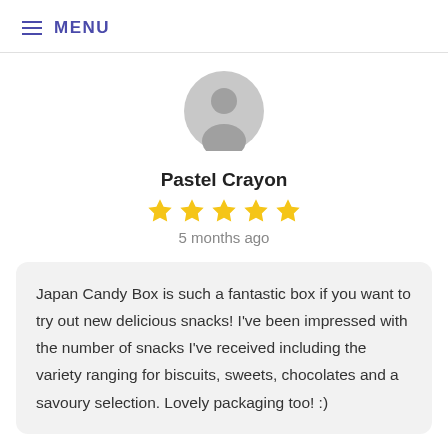≡ MENU
[Figure (illustration): Generic user avatar icon — grey circle with grey silhouette of a person (head and shoulders)]
Pastel Crayon
[Figure (other): 5 yellow star rating icons]
5 months ago
Japan Candy Box is such a fantastic box if you want to try out new delicious snacks! I've been impressed with the number of snacks I've received including the variety ranging for biscuits, sweets, chocolates and a savoury selection. Lovely packaging too! :)